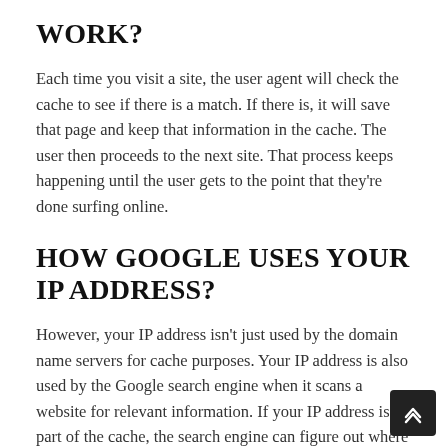WORK?
Each time you visit a site, the user agent will check the cache to see if there is a match. If there is, it will save that page and keep that information in the cache. The user then proceeds to the next site. That process keeps happening until the user gets to the point that they're done surfing online.
HOW GOOGLE USES YOUR IP ADDRESS?
However, your IP address isn't just used by the domain name servers for cache purposes. Your IP address is also used by the Google search engine when it scans a website for relevant information. If your IP address is part of the cache, the search engine can figure out where you are from and wha…